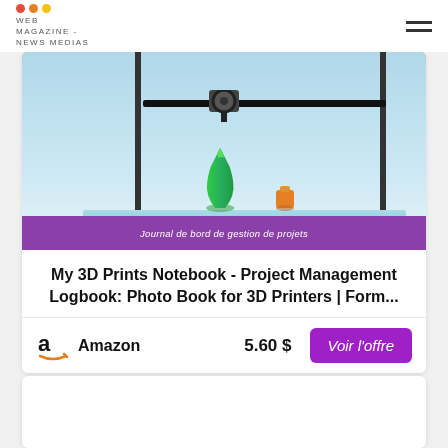WEB MAGAZINE - NEWS MEDIAS
[Figure (photo): 3D printer printing a green vase-shaped object on a blue print bed, with an orange object nearby. Purple banner at bottom reads 'Journal de bord de gestion de projets'.]
My 3D Prints Notebook - Project Management Logbook: Photo Book for 3D Printers | Form...
Amazon   5.60 $   Voir l'offre